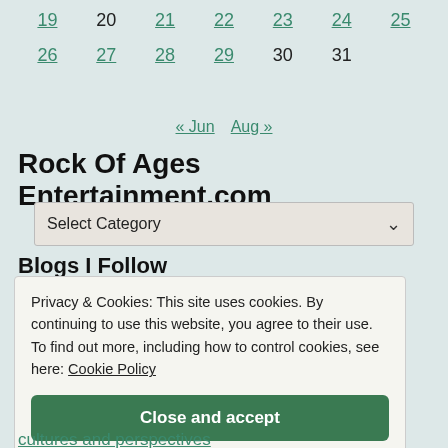| 19 | 20 | 21 | 22 | 23 | 24 | 25 |
| 26 | 27 | 28 | 29 | 30 | 31 |  |
« Jun  Aug »
Rock Of Ages Entertainment.com
Select Category
Blogs I Follow
Privacy & Cookies: This site uses cookies. By continuing to use this website, you agree to their use. To find out more, including how to control cookies, see here: Cookie Policy
Close and accept
cultures and perspectives